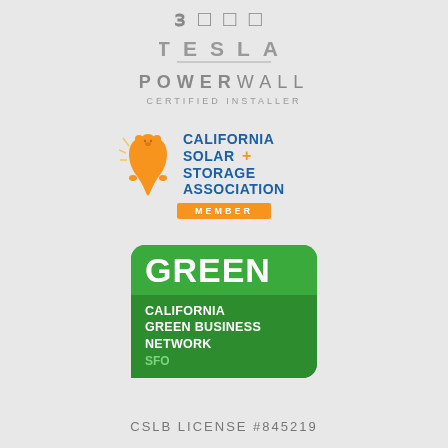[Figure (logo): Tesla Powerwall Certified Installer logo with stylized TESLA text, horizontal line, POWERWALL text, and CERTIFIED INSTALLER subtitle]
[Figure (logo): California Solar + Storage Association MEMBER badge with California bear silhouette, blue text, and orange MEMBER banner]
[Figure (logo): California Green Business Network SFO badge with GREEN text in rounded green rectangle, white business name text, and green SFO text]
CSLB LICENSE #845219